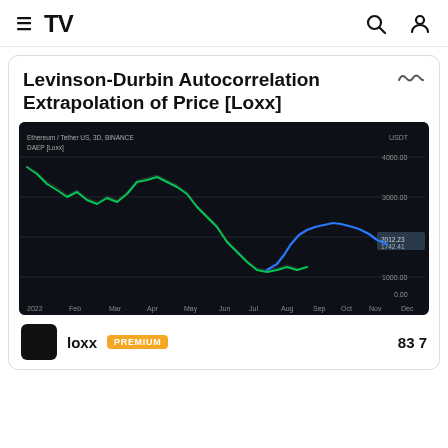≡ TV (TradingView logo) [search icon] [user icon]
Levinson-Durbin Autocorrelation Extrapolation of Price [Loxx]
[Figure (continuous-plot): TradingView chart showing Ethereum / Tether US, 3D, BINANCE. A green line traces historical price from early 2022 through mid-2022 peak, then declining to a trough around mid-2022. A blue line shows an autocorrelation extrapolation forecast curving upward from mid-2022 through late 2022 (Sep-Oct) then slightly declining toward Nov-Dec. Y-axis shows price levels roughly 0 to 4000. X-axis shows months from 2022: Feb, Mar, Apr, May, Jun, Jul, Aug, Sep, Oct, Nov, Dec.]
loxx  PREMIUM  83 7